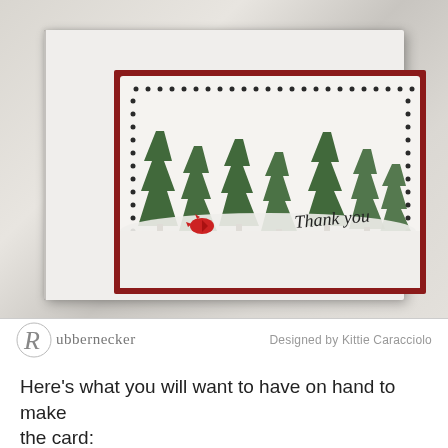[Figure (photo): A handmade Christmas greeting card featuring stamped green pine trees in a snowy scene with a red cardinal bird, 'Thank you' script text, white scalloped die-cut border, red mat layer, on a marble background. Bottom strip shows Rubbernecker logo and 'Designed by Kittie Caracciolo' credit.]
Here's what you will want to have on hand to make the card: